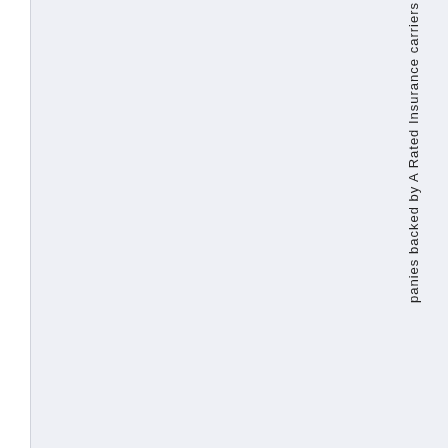panies backed by A Rated Insurance carriers